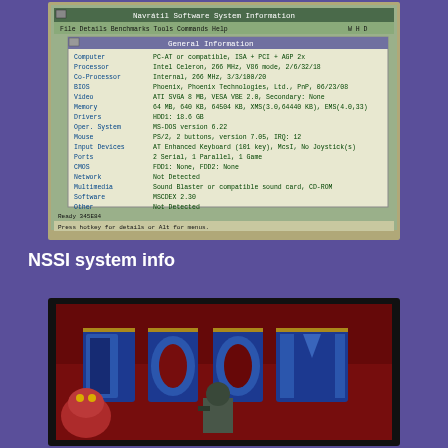[Figure (screenshot): Screenshot of Navrátil Software System Information (NSSI) showing General Information window with PC system details including Computer, Processor, Co-Processor, BIOS, Video, Memory, Drivers, Oper. System, Mouse, Input Devices, Ports, CMOS, Network, Multimedia, Software, Other fields.]
NSSI system info
[Figure (photo): Photo of a CRT monitor displaying the DOOM game title screen with the large DOOM logo in blue and gold letters on a red background, with a demon character visible on the left side.]